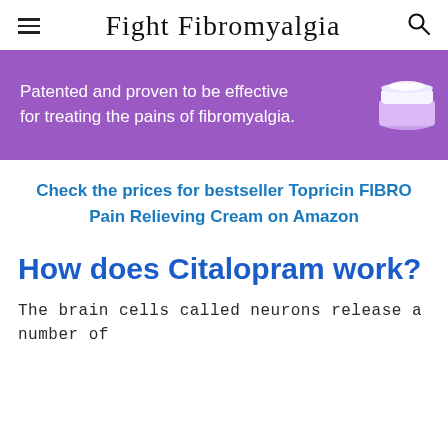Fight Fibromyalgia
[Figure (illustration): Purple banner advertisement with white text: 'Patented and proven to be effective for treating the pains of fibromyalgia.' and an image of a white cream jar on the right side.]
Check the prices for bestseller Topricin FIBRO Pain Relieving Cream on Amazon
How does Citalopram work?
The brain cells called neurons release a number of